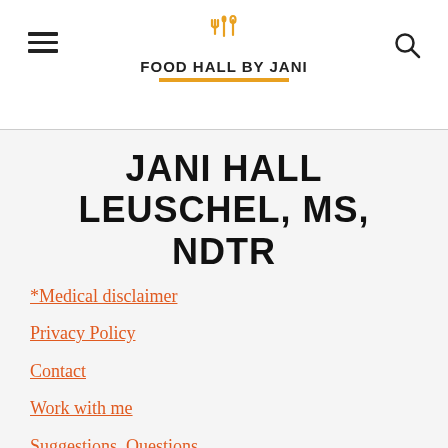Food Hall by Jani
JANI HALL LEUSCHEL, MS, NDTR
*Medical disclaimer
Privacy Policy
Contact
Work with me
Suggestions, Questions,